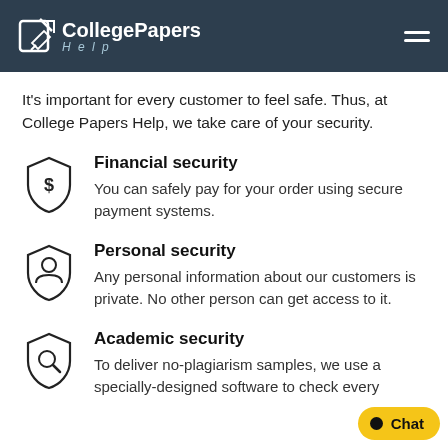CollegePapers Help
It's important for every customer to feel safe. Thus, at College Papers Help, we take care of your security.
Financial security
You can safely pay for your order using secure payment systems.
Personal security
Any personal information about our customers is private. No other person can get access to it.
Academic security
To deliver no-plagiarism samples, we use a specially-designed software to check every